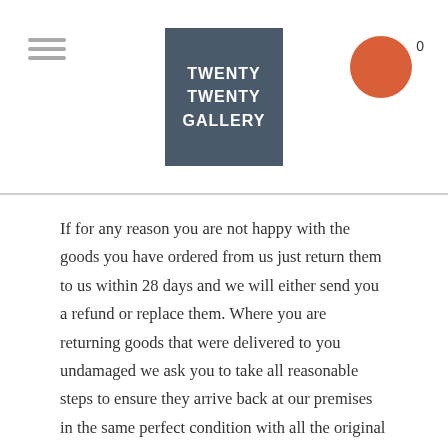TWENTY TWENTY GALLERY
If for any reason you are not happy with the goods you have ordered from us just return them to us within 28 days and we will either send you a refund or replace them. Where you are returning goods that were delivered to you undamaged we ask you to take all reasonable steps to ensure they arrive back at our premises in the same perfect condition with all the original packaging.
The above is in addition to your statutory rights.